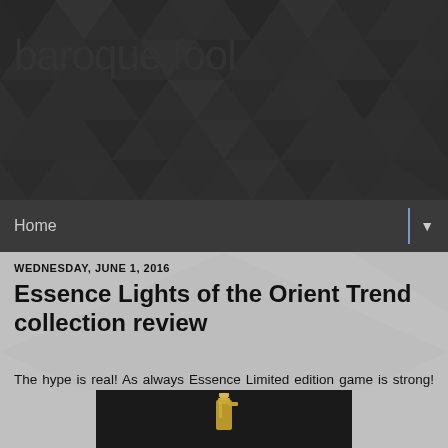baroque fool
Home
WEDNESDAY, JUNE 1, 2016
Essence Lights of the Orient Trend collection review
The hype is real! As always Essence Limited edition game is strong! They released this Lights of the orient collection a while back and I finally got around to reviewing it. So by now these items are available in every store that supplies you with your Essence beauty products.
[Figure (photo): Photo of a gold spray bottle held against a dark background]